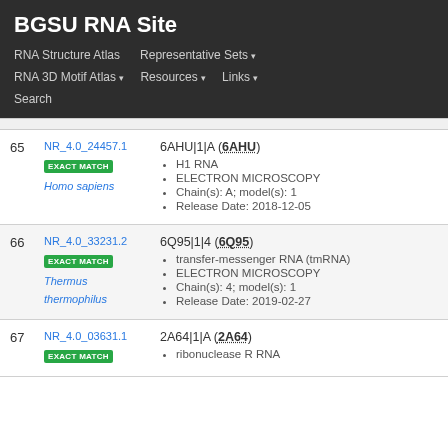BGSU RNA Site
RNA Structure Atlas | Representative Sets ▾ | RNA 3D Motif Atlas ▾ | Resources ▾ | Links ▾ | Search
| # | ID | Info |
| --- | --- | --- |
| 65 | NR_4.0_24457.1
EXACT MATCH
Homo sapiens | 6AHU|1|A (6AHU)
• H1 RNA
• ELECTRON MICROSCOPY
• Chain(s): A; model(s): 1
• Release Date: 2018-12-05 |
| 66 | NR_4.0_33231.2
EXACT MATCH
Thermus thermophilus | 6Q95|1|4 (6Q95)
• transfer-messenger RNA (tmRNA)
• ELECTRON MICROSCOPY
• Chain(s): 4; model(s): 1
• Release Date: 2019-02-27 |
| 67 | NR_4.0_03631.1
EXACT MATCH | 2A64|1|A (2A64)
• ribonuclease R RNA |